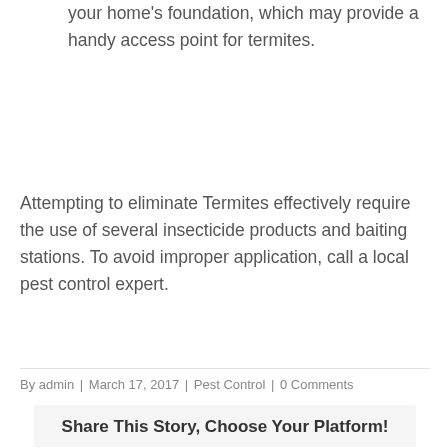your home's foundation, which may provide a handy access point for termites.
Attempting to eliminate Termites effectively require the use of several insecticide products and baiting stations. To avoid improper application, call a local pest control expert.
By admin | March 17, 2017 | Pest Control | 0 Comments
Share This Story, Choose Your Platform!